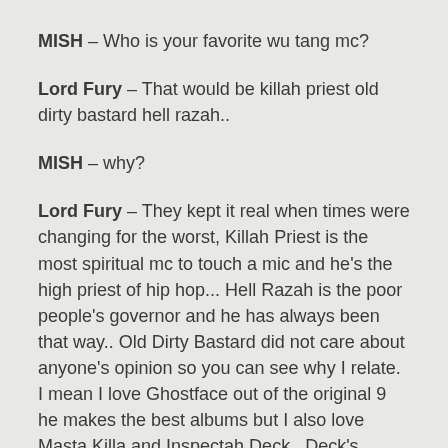MISH – Who is your favorite wu tang mc?
Lord Fury – That would be killah priest old dirty bastard hell razah..
MISH – why?
Lord Fury – They kept it real when times were changing for the worst, Killah Priest is the most spiritual mc to touch a mic and he's the high priest of hip hop... Hell Razah is the poor people's governor and he has always been that way.. Old Dirty Bastard did not care about anyone's opinion so you can see why I relate. I mean I love Ghostface out of the original 9 he makes the best albums but I also love Masta Killa and Inspectah Deck.. Deck's album is a classic, uncontrolled substance is fire.. Masta Killa got that jamaican flow and I understand now because he